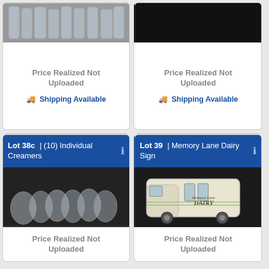[Figure (photo): Photo of multiple glass milk bottles on a surface]
Price Realized Not Uploaded
Shipping Available
[Figure (photo): Dark background photo, partially visible]
Price Realized Not Uploaded
Shipping Available
Lot 38c | (10) Individual Creamers
[Figure (photo): Photo of ten individual glass creamer bottles on dark background]
Price Realized Not Uploaded
Lot 39 | Memory Lane Dairy Sign
[Figure (photo): Photo of a Memory Lane Dairy ceramic sign shaped like a milk truck]
Price Realized Not Uploaded